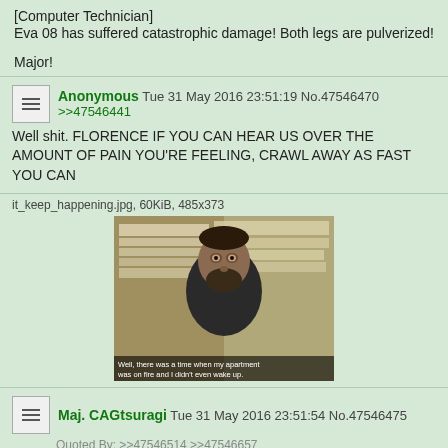[Computer Technician]
Eva 08 has suffered catastrophic damage! Both legs are pulverized!

Major!
Anonymous Tue 31 May 2016 23:51:19 No.47546470
>>47546441
Well shit. FLORENCE IF YOU CAN HEAR US OVER THE AMOUNT OF PAIN YOU'RE FEELING, CRAWL AWAY AS FAST YOU CAN
[Figure (photo): Meme image of a bearded man in a black shirt in front of a bulletin board, with caption text at the bottom. File: it_keep_happening.jpg, 60KiB, 485x373]
Maj. CAGtsuragi Tue 31 May 2016 23:51:54 No.47546475
Quoted By: >>47546514 >>47546657
>>47546441
Can we eject the entry plug?
Anonymous Tue 31 May 2016 23:52:25 No.47546480
>>47546441